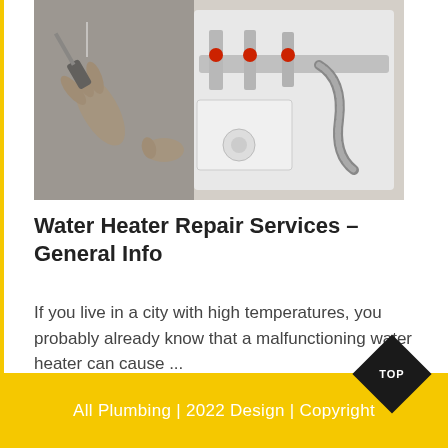[Figure (photo): A person using a screwdriver to work on a water heater unit with pipes, valves, and fittings visible.]
Water Heater Repair Services – General Info
If you live in a city with high temperatures, you probably already know that a malfunctioning water heater can cause ...
Read More
All Plumbing | 2022 Design | Copyright